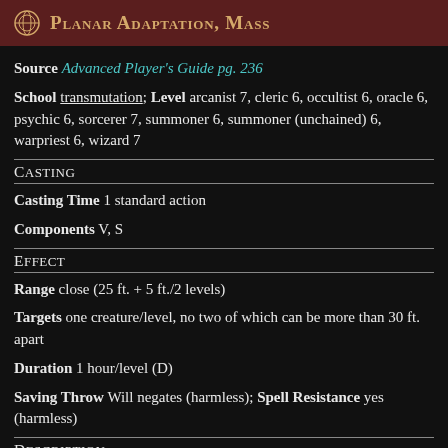Planar Adaptation, Mass
Source Advanced Player's Guide pg. 236
School transmutation; Level arcanist 7, cleric 6, occultist 6, oracle 6, psychic 6, sorcerer 7, summoner 6, summoner (unchained) 6, warpriest 6, wizard 7
Casting
Casting Time 1 standard action
Components V, S
Effect
Range close (25 ft. + 5 ft./2 levels)
Targets one creature/level, no two of which can be more than 30 ft. apart
Duration 1 hour/level (D)
Saving Throw Will negates (harmless); Spell Resistance yes (harmless)
Description
This spell functions like planar adaptation, except as noted